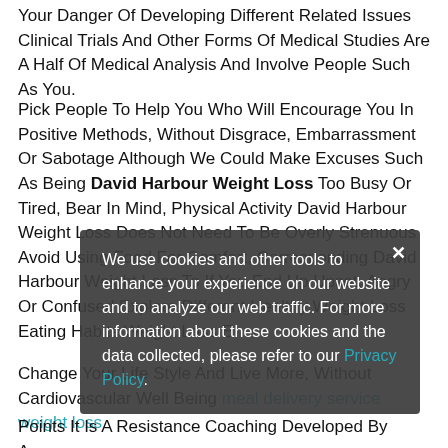Your Danger Of Developing Different Related Issues Clinical Trials And Other Forms Of Medical Studies Are A Half Of Medical Analysis And Involve People Such As You.
Pick People To Help You Who Will Encourage You In Positive Methods, Without Disgrace, Embarrassment Or Sabotage Although We Could Make Excuses Such As Being David Harbour Weight Loss Too Busy Or Tired, Bear In Mind, Physical Activity David Harbour Weight Loss Does Not Need To Be Overly Strenuous Avoid Using Food For Comfort, Corresponding David Harbour Weight Loss To If You End Up Upset, Angry Or Confused Explore Different Healthy Weight Loss Eating Habits.Weight Loss Eating
Change Your Life Style And Live More, Without Cardiovascular Well Being meal delivery service weight loss Points It Is A Resistance Coaching Developed By Army
[Figure (screenshot): Cookie consent modal overlay with dark semi-transparent background, close X button, text about cookies and web traffic analysis, and a Privacy Policy link in teal/cyan color.]